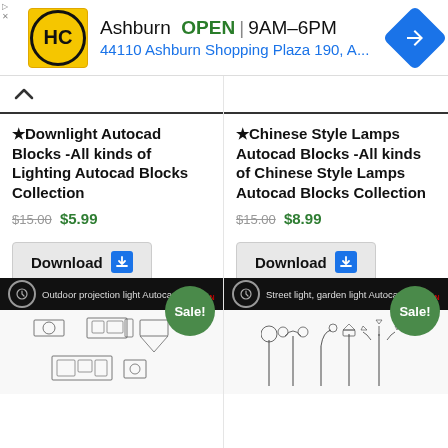[Figure (screenshot): Ad banner: HC logo, Ashburn OPEN 9AM-6PM, 44110 Ashburn Shopping Plaza 190, A..., navigation arrow icon]
[Figure (screenshot): Upward chevron scroll button]
★ Downlight Autocad Blocks -All kinds of Lighting Autocad Blocks Collection
$15.00 $5.99
Download
★ Chinese Style Lamps Autocad Blocks -All kinds of Chinese Style Lamps Autocad Blocks Collection
$15.00 $8.99
Download
[Figure (screenshot): Outdoor projection light Autocad block product image with Sale! badge]
[Figure (screenshot): Street light, garden light Autocad block product image with Sale! badge]